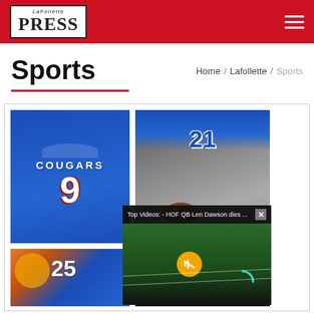LaFollette Press
Sports
Home / Lafollette / Sports
[Figure (photo): Sports section with two football players in blue jerseys, one wearing a Cougars #9 jersey, another wearing #21. A video popup overlay reading 'Top Videos: - HOF QB Len Dawson dies ...' with a mute button and close (x) button. Bottom left shows a cheerleader with a paw logo.]